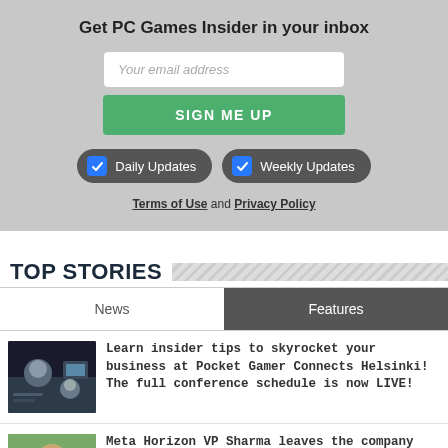Get PC Games Insider in your inbox
Your email address
SIGN ME UP
Daily Updates
Weekly Updates
Terms of Use and Privacy Policy
TOP STORIES
News
Features
[Figure (photo): Conference photo showing speakers or event imagery for Pocket Gamer Connects Helsinki]
Learn insider tips to skyrocket your business at Pocket Gamer Connects Helsinki! The full conference schedule is now LIVE!
[Figure (photo): Photo of Meta Horizon VP Sharma, a man with glasses outdoors]
Meta Horizon VP Sharma leaves the company